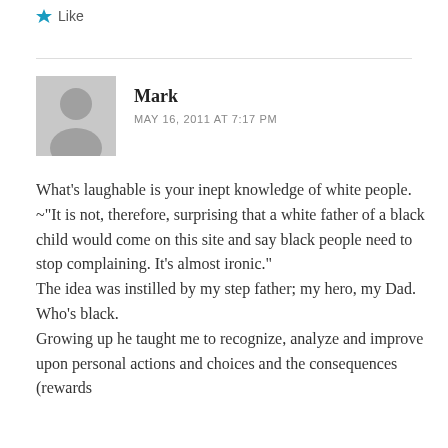Like
Mark
MAY 16, 2011 AT 7:17 PM
[Figure (illustration): Generic avatar placeholder — grey silhouette of a person on a light grey background]
What's laughable is your inept knowledge of white people.
~"It is not, therefore, surprising that a white father of a black child would come on this site and say black people need to stop complaining. It's almost ironic."
The idea was instilled by my step father; my hero, my Dad. Who's black.
Growing up he taught me to recognize, analyze and improve upon personal actions and choices and the consequences (rewards